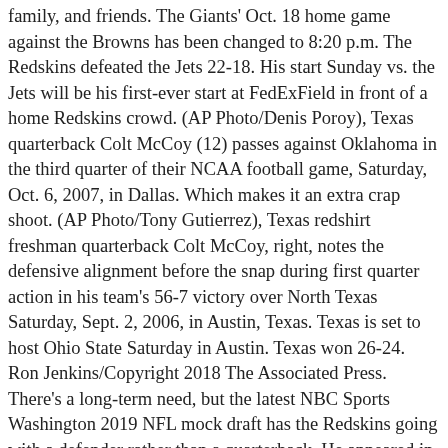family, and friends. The Giants' Oct. 18 home game against the Browns has been changed to 8:20 p.m. The Redskins defeated the Jets 22-18. His start Sunday vs. the Jets will be his first-ever start at FedExField in front of a home Redskins crowd. (AP Photo/Denis Poroy), Texas quarterback Colt McCoy (12) passes against Oklahoma in the third quarter of their NCAA football game, Saturday, Oct. 6, 2007, in Dallas. Which makes it an extra crap shoot. (AP Photo/Tony Gutierrez), Texas redshirt freshman quarterback Colt McCoy, right, notes the defensive alignment before the snap during first quarter action in his team's 56-7 victory over North Texas Saturday, Sept. 2, 2006, in Austin, Texas. Texas is set to host Ohio State Saturday in Austin. Texas won 26-24. Ron Jenkins/Copyright 2018 The Associated Press. There's a long-term need, but the latest NBC Sports Washington 2019 NFL mock draft has the Redskins going with a defender rather than a quarterback. He appeared in in relief for fellow quarterback Case Keenum against the New York Giants and the Minnesota Vikings before getting his first career start against the Buffalo Bills. (AP Photo/Eric Gay), Texas' quarterback Colt McCoy (12) and wider receiver Billy Pittman (2) give the hook 'em horns sign from the corner of end zone during their football game 35-31...